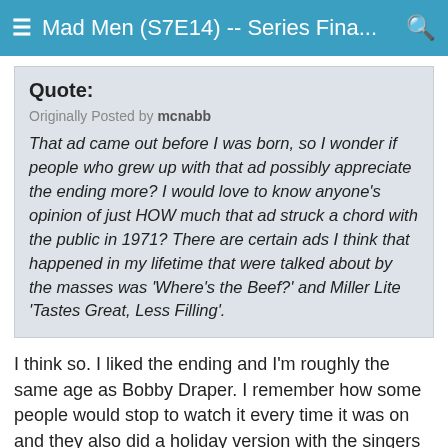≡ Mad Men (S7E14) -- Series Fina... 🔍
Quote:
Originally Posted by mcnabb
That ad came out before I was born, so I wonder if people who grew up with that ad possibly appreciate the ending more? I would love to know anyone's opinion of just HOW much that ad struck a chord with the public in 1971? There are certain ads I think that happened in my lifetime that were talked about by the masses was 'Where's the Beef?' and Miller Lite 'Tastes Great, Less Filling'.
I think so. I liked the ending and I'm roughly the same age as Bobby Draper. I remember how some people would stop to watch it every time it was on and they also did a holiday version with the singers holding candles and standing in the shape of a Christmas tree. Both ads ran for a long time.
The ending...